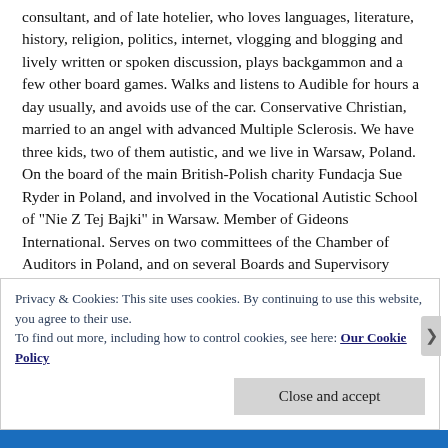consultant, and of late hotelier, who loves languages, literature, history, religion, politics, internet, vlogging and blogging and lively written or spoken discussion, plays backgammon and a few other board games. Walks and listens to Audible for hours a day usually, and avoids use of the car. Conservative Christian, married to an angel with advanced Multiple Sclerosis. We have three kids, two of them autistic, and we live in Warsaw, Poland. On the board of the main British-Polish charity Fundacja Sue Ryder in Poland, and involved in the Vocational Autistic School of "Nie Z Tej Bajki" in Warsaw. Member of Gideons International. Serves on two committees of the Chamber of Auditors in Poland, and on several Boards and Supervisory Boards. Has own consultancy called Quoracy.com delivering business governance and audit/valuation solutions as well as mentoring. Author of the GoldList Method for systematic optimal use of the long-term
Privacy & Cookies: This site uses cookies. By continuing to use this website, you agree to their use.
To find out more, including how to control cookies, see here: Our Cookie Policy
Close and accept